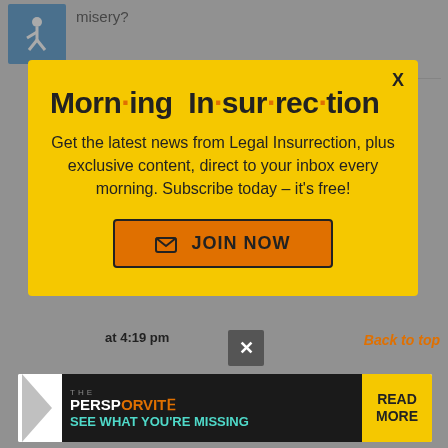misery?
NC Mountain Girl | February 11, 2014 at 1:02 pm
[Figure (screenshot): Morning Insurrection newsletter popup modal with yellow background. Title reads 'Morn·ing In·sur·rec·tion' with orange dots. Body text: 'Get the latest news from Legal Insurrection, plus exclusive content, direct to your inbox every morning. Subscribe today – it's free!' with an orange JOIN NOW button. X close button in top right corner.]
at 4:19 pm
[Figure (screenshot): The Perspective banner advertisement: dark background with 'THE PERSPECTIVE' in white/orange letters, 'SEE WHAT YOU'RE MISSING' in teal, and a yellow 'READ MORE' button on the right.]